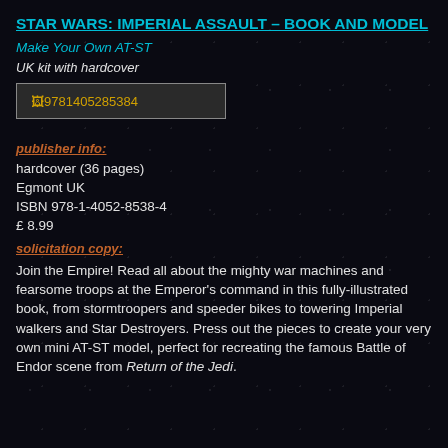STAR WARS: IMPERIAL ASSAULT – BOOK AND MODEL
Make Your Own AT-ST
UK kit with hardcover
[Figure (other): ISBN barcode/image placeholder showing 9781405285384]
publisher info:
hardcover (36 pages)
Egmont UK
ISBN 978-1-4052-8538-4
£ 8.99
solicitation copy:
Join the Empire! Read all about the mighty war machines and fearsome troops at the Emperor's command in this fully-illustrated book, from stormtroopers and speeder bikes to towering Imperial walkers and Star Destroyers. Press out the pieces to create your very own mini AT-ST model, perfect for recreating the famous Battle of Endor scene from Return of the Jedi.